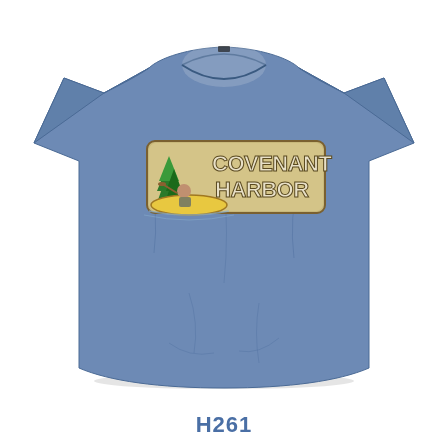[Figure (photo): A blue/slate-colored crewneck t-shirt laid flat on a white background. The shirt has a graphic on the chest showing a cartoon character in a yellow canoe with green pine trees, inside a rectangular logo badge reading 'COVENANT HARBOR' in large stylized letters.]
H261